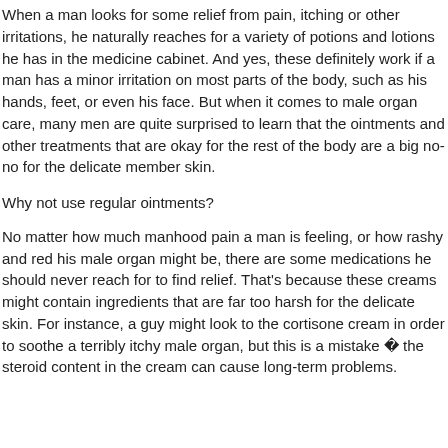When a man looks for some relief from pain, itching or other irritations, he naturally reaches for a variety of potions and lotions he has in the medicine cabinet. And yes, these definitely work if a man has a minor irritation on most parts of the body, such as his hands, feet, or even his face. But when it comes to male organ care, many men are quite surprised to learn that the ointments and other treatments that are okay for the rest of the body are a big no-no for the delicate member skin.
Why not use regular ointments?
No matter how much manhood pain a man is feeling, or how rashy and red his male organ might be, there are some medications he should never reach for to find relief. That’s because these creams might contain ingredients that are far too harsh for the delicate skin. For instance, a guy might look to the cortisone cream in order to soothe a terribly itchy male organ, but this is a mistake � the steroid content in the cream can cause long-term problems.